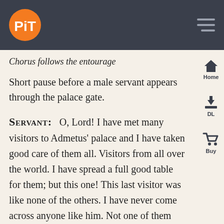PiT logo and navigation header
Chorus follows the entourage
Short pause before a male servant appears through the palace gate.
SERVANT:   O, Lord! I have met many visitors to Admetus' palace and I have taken good care of them all. Visitors from all over the world. I have spread a full good table for them; but this one! This last visitor was like none of the others. I have never come across anyone like him. Not one of them was worse than him!
First of all, he saw that the master is grieving but